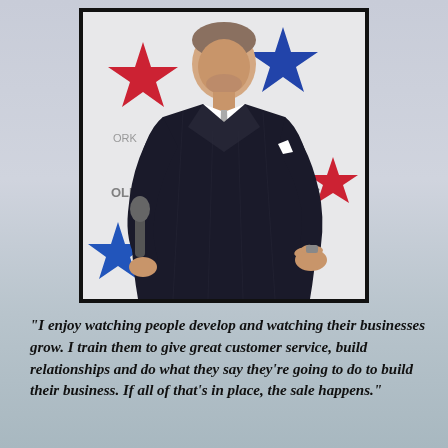[Figure (photo): A man in a dark pinstripe suit holding a microphone, speaking at an event with a star-decorated backdrop showing red and blue stars and partial text 'OLD' and 'SS' visible.]
"I enjoy watching people develop and watching their businesses grow. I train them to give great customer service, build relationships and do what they say they're going to do to build their business. If all of that's in place, the sale happens."